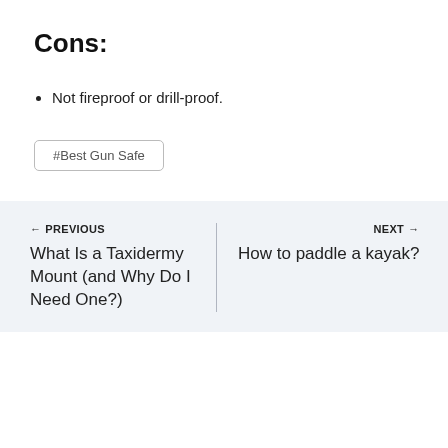Cons:
Not fireproof or drill-proof.
#Best Gun Safe
← PREVIOUS
What Is a Taxidermy Mount (and Why Do I Need One?)
NEXT →
How to paddle a kayak?